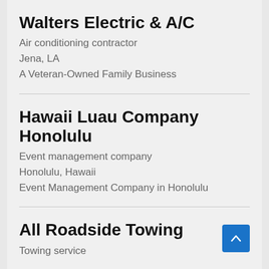Walters Electric & A/C
Air conditioning contractor
Jena, LA
A Veteran-Owned Family Business
Hawaii Luau Company Honolulu
Event management company
Honolulu, Hawaii
Event Management Company in Honolulu
All Roadside Towing
Towing service